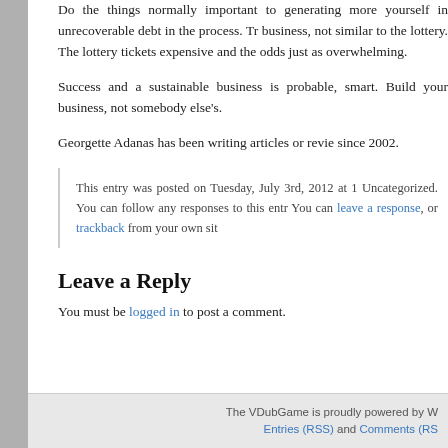Do the things normally important to generating more yourself in unrecoverable debt in the process. Tr business, not similar to the lottery. The lottery tickets expensive and the odds just as overwhelming.
Success and a sustainable business is probable, smart. Build your business, not somebody else's.
Georgette Adanas has been writing articles or revie since 2002.
This entry was posted on Tuesday, July 3rd, 2012 at 1 Uncategorized. You can follow any responses to this entr You can leave a response, or trackback from your own sit
Leave a Reply
You must be logged in to post a comment.
The VDubGame is proudly powered by W Entries (RSS) and Comments (RS